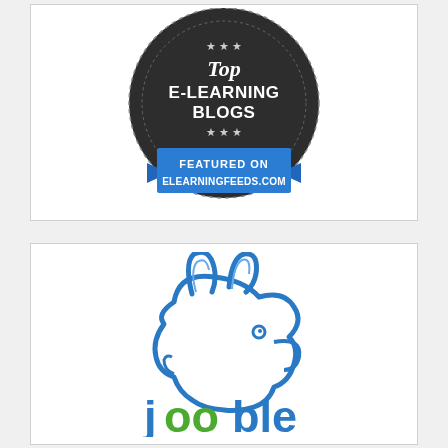[Figure (logo): Top E-Learning Blogs badge - dark circular badge with stars and text 'Top E-LEARNING BLOGS' with blue ribbon banner reading 'FEATURED ON ELEARNINGFEEDS.COM']
[Figure (logo): Jooble logo - blue rabbit/hare outline illustration above green and blue 'jooble' text wordmark]